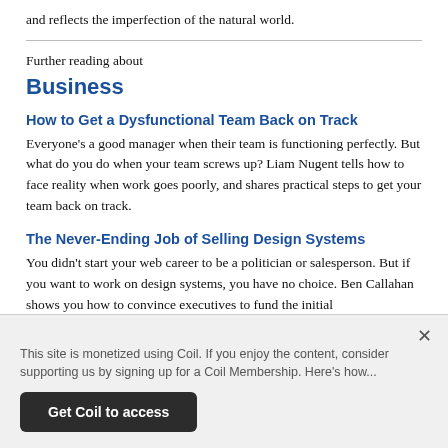and reflects the imperfection of the natural world.
Further reading about
Business
How to Get a Dysfunctional Team Back on Track
Everyone's a good manager when their team is functioning perfectly. But what do you do when your team screws up? Liam Nugent tells how to face reality when work goes poorly, and shares practical steps to get your team back on track.
The Never-Ending Job of Selling Design Systems
You didn't start your web career to be a politician or salesperson. But if you want to work on design systems, you have no choice. Ben Callahan shows you how to convince executives to fund the initial
This site is monetized using Coil. If you enjoy the content, consider supporting us by signing up for a Coil Membership. Here's how...
Get Coil to access